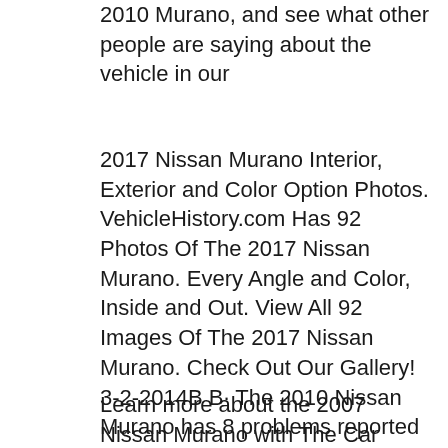2010 Murano, and see what other people are saying about the vehicle in our
2017 Nissan Murano Interior, Exterior and Color Option Photos. VehicleHistory.com Has 92 Photos Of The 2017 Nissan Murano. Every Angle and Color, Inside and Out. View All 92 Images Of The 2017 Nissan Murano. Check Out Our Gallery! 3-2-2014B B· The 2010 Nissan Murano has 8 problems reported for transmission failure. Average repair cost is $4,290 at 133,050 miles.
Learn more about the 2007 Nissan Murano with The Car Connection review.